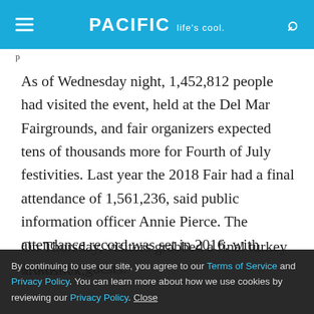PACIFIC Life's cool.
As of Wednesday night, 1,452,812 people had visited the event, held at the Del Mar Fairgrounds, and fair organizers expected tens of thousands more for Fourth of July festivities. Last year the 2018 Fair had a final attendance of 1,561,236, said public information officer Annie Pierce. The attendance record was set in 2016, with 1,609,481 guests.
On Thursday, visitors grabbed a final turkey drumstick,
By continuing to use our site, you agree to our Terms of Service and Privacy Policy. You can learn more about how we use cookies by reviewing our Privacy Policy. Close